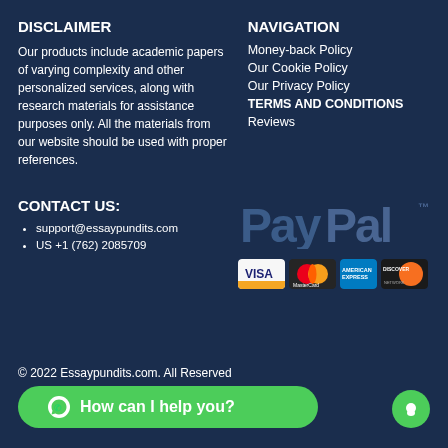DISCLAIMER
Our products include academic papers of varying complexity and other personalized services, along with research materials for assistance purposes only. All the materials from our website should be used with proper references.
NAVIGATION
Money-back Policy
Our Cookie Policy
Our Privacy Policy
TERMS AND CONDITIONS
Reviews
CONTACT US:
support@essaypundits.com
US +1 (762) 2085709
[Figure (logo): PayPal logo and payment card logos: Visa, MasterCard, American Express, Discover]
© 2022 Essaypundits.com. All Rights Reserved
How can I help you?